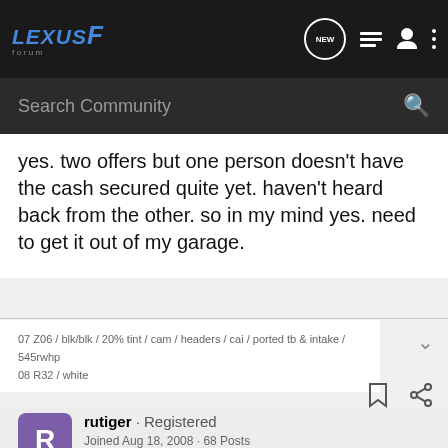LexusF Forum — NEW
yes. two offers but one person doesn't have the cash secured quite yet. haven't heard back from the other. so in my mind yes. need to get it out of my garage.
07 Z06 / blk/blk / 20% tint / cam / headers / cai / ported tb & intake / 545rwhp
08 R32 / white
rutiger · Registered
Joined Aug 18, 2008 · 68 Posts